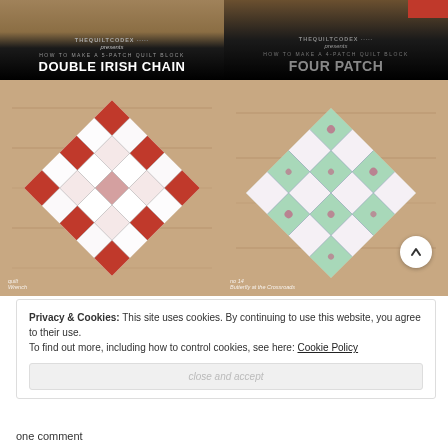[Figure (illustration): Banner for 'How to Make a 5-Patch Quilt Block – Double Irish Chain' from The Quilt Codex, dark background with text]
[Figure (illustration): Banner for 'How to Make a 4-Patch Quilt Block – Four Patch' from The Quilt Codex, dark background with text]
[Figure (photo): Red and white gingham Double Irish Chain quilt block on wood background, rotated 45 degrees, with watermark 'quilt Wrench']
[Figure (photo): Mint and floral Four Patch quilt block on wood background with white scroll-up arrow button, watermark 'Butterfly at the Crossroads']
Privacy & Cookies: This site uses cookies. By continuing to use this website, you agree to their use.
To find out more, including how to control cookies, see here: Cookie Policy
close and accept
one comment